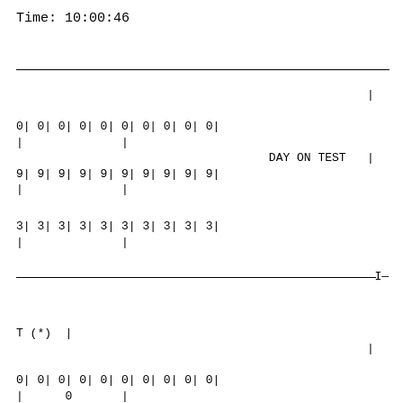Time: 10:00:46
0| 0| 0| 0| 0| 0| 0| 0| 0| 0|
|              |
                                    DAY ON TEST   |
9| 9| 9| 9| 9| 9| 9| 9| 9| 9|
|              |

3| 3| 3| 3| 3| 3| 3| 3| 3| 3|
|              |

___________________________________________I__
T (*)  |
                                                  |
0| 0| 0| 0| 0| 0| 0| 0| 0| 0|
|      0       |